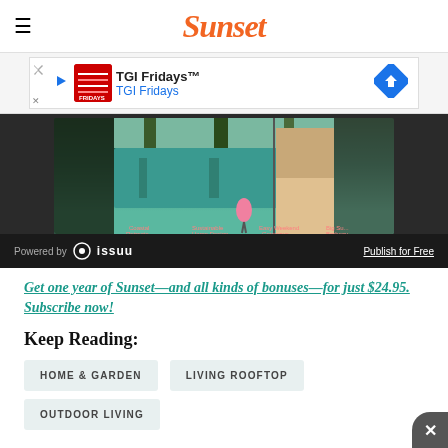Sunset
[Figure (screenshot): TGI Fridays advertisement banner with logo and navigation arrow]
[Figure (screenshot): Issuu embedded magazine reader showing Sunset Living Guide with pool and outdoor scenes. Bottom bar shows 'Powered by issuu' and 'Publish for Free']
Get one year of Sunset—and all kinds of bonuses—for just $24.95. Subscribe now!
Keep Reading:
HOME & GARDEN
LIVING ROOFTOP
OUTDOOR LIVING